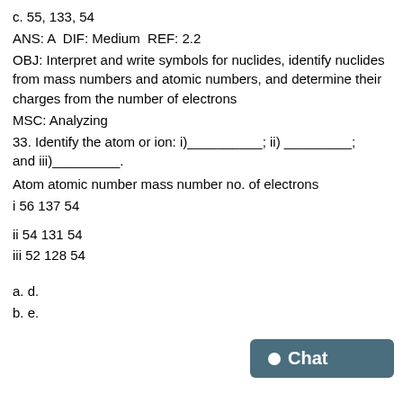c. 55, 133, 54
ANS: A DIF: Medium REF: 2.2
OBJ: Interpret and write symbols for nuclides, identify nuclides from mass numbers and atomic numbers, and determine their charges from the number of electrons
MSC: Analyzing
33. Identify the atom or ion: i)__________; ii) _________; and iii)_________.
Atom atomic number mass number no. of electrons
i 56 137 54
ii 54 131 54
iii 52 128 54
a. d.
b. e.